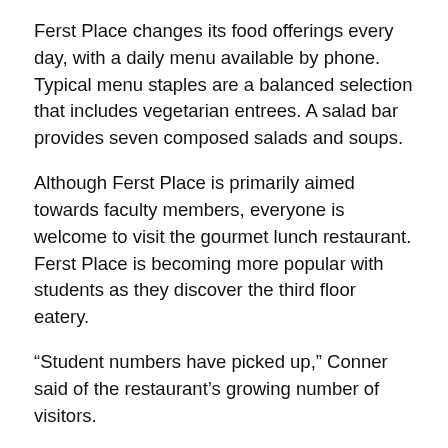Ferst Place changes its food offerings every day, with a daily menu available by phone. Typical menu staples are a balanced selection that includes vegetarian entrees. A salad bar provides seven composed salads and soups.
Although Ferst Place is primarily aimed towards faculty members, everyone is welcome to visit the gourmet lunch restaurant. Ferst Place is becoming more popular with students as they discover the third floor eatery.
“Student numbers have picked up,” Conner said of the restaurant’s growing number of visitors.
In recent years, emphasis on international cuisine has grown to reflect Tech’s increasingly diverse student body.
“Last month was Hispanic Heritage Month so we ran specials each Wednesday for the entire month so that